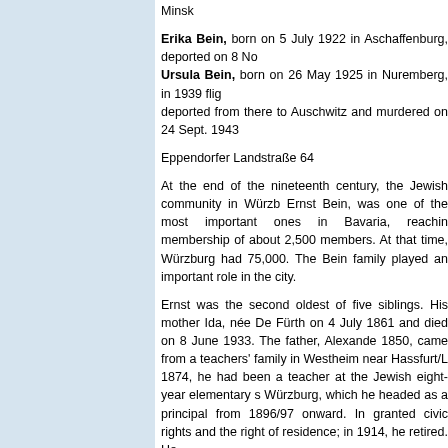Minsk
Erika Bein, born on 5 July 1922 in Aschaffenburg, deported on 8 No
Ursula Bein, born on 26 May 1925 in Nuremberg, in 1939 flig
deported from there to Auschwitz and murdered on 24 Sept. 1943
Eppendorfer Landstraße 64
At the end of the nineteenth century, the Jewish community in Würzb Ernst Bein, was one of the most important ones in Bavaria, reachin membership of about 2,500 members. At that time, Würzburg had 75,000. The Bein family played an important role in the city.
Ernst was the second oldest of five siblings. His mother Ida, née De Fürth on 4 July 1861 and died on 8 June 1933. The father, Alexande 1850, came from a teachers' family in Westheim near Hassfurt/L 1874, he had been a teacher at the Jewish eight-year elementary s Würzburg, which he headed as a principal from 1896/97 onward. In granted civic rights and the right of residence; in 1914, he retired. He
Karl, the first son of Ida and Alexander Bein, was born in 1884. We professional career. He died in London in 1956. One year after Ernst Oskar was born, who became a sales assistant ("Kommis") and m the only sister, Elsa. Brother Max followed in 1885. He became a ba Oskar and Max fought in the First World War. Both later emigrated t died in 1936 and Oskar in 1959. In 1914, Elsa married the pati